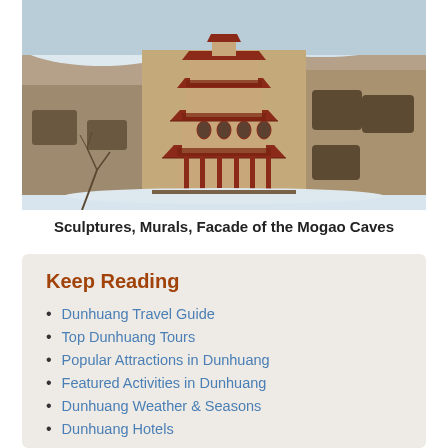[Figure (photo): Photograph of the Mogao Caves facade showing a multi-storey traditional Chinese pagoda structure built into a sandstone cliff face, with snow on the surrounding rocks, in winter.]
Sculptures, Murals, Facade of the Mogao Caves
Keep Reading
Dunhuang Travel Guide
Top Dunhuang Tours
Popular Attractions in Dunhuang
Featured Activities in Dunhuang
Dunhuang Weather & Seasons
Dunhuang Hotels
How to Get to & around Dunhuang
Dunhuang Maps